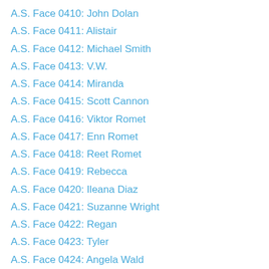A.S. Face 0410: John Dolan
A.S. Face 0411: Alistair
A.S. Face 0412: Michael Smith
A.S. Face 0413: V.W.
A.S. Face 0414: Miranda
A.S. Face 0415: Scott Cannon
A.S. Face 0416: Viktor Romet
A.S. Face 0417: Enn Romet
A.S. Face 0418: Reet Romet
A.S. Face 0419: Rebecca
A.S. Face 0420: Ileana Diaz
A.S. Face 0421: Suzanne Wright
A.S. Face 0422: Regan
A.S. Face 0423: Tyler
A.S. Face 0424: Angela Wald
A.S. Face 0425: Jessica Skorupski
A.S. Face 0426: Nawfal
A.S. Face 0427: Susan D.
A.S. Face 0428: Barbara McDonald
A.S. Face 0429: Rachel Baker